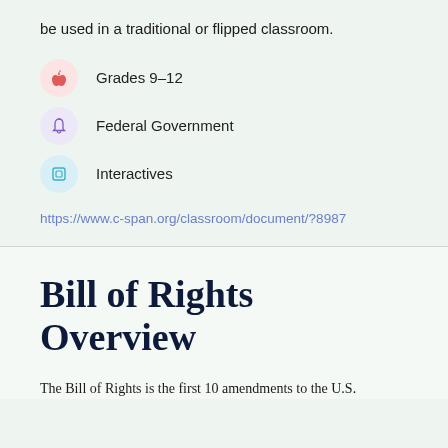be used in a traditional or flipped classroom.
Grades 9–12
Federal Government
Interactives
https://www.c-span.org/classroom/document/?8987
Bill of Rights Overview
The Bill of Rights is the first 10 amendments to the U.S.